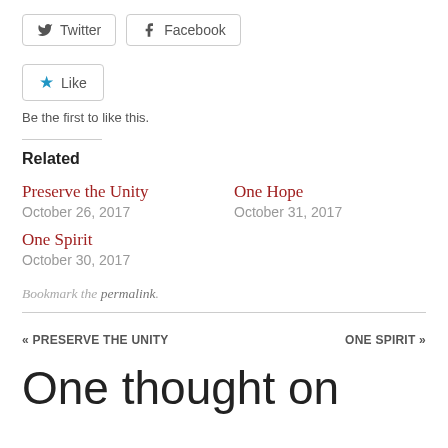[Figure (other): Twitter and Facebook social share buttons]
[Figure (other): Like button with star icon]
Be the first to like this.
Related
Preserve the Unity
October 26, 2017
One Hope
October 31, 2017
One Spirit
October 30, 2017
Bookmark the permalink.
« PRESERVE THE UNITY   ONE SPIRIT »
One thought on